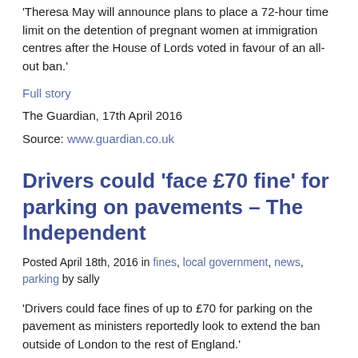'Theresa May will announce plans to place a 72-hour time limit on the detention of pregnant women at immigration centres after the House of Lords voted in favour of an all-out ban.'
Full story
The Guardian, 17th April 2016
Source: www.guardian.co.uk
Drivers could 'face £70 fine' for parking on pavements – The Independent
Posted April 18th, 2016 in fines, local government, news, parking by sally
'Drivers could face fines of up to £70 for parking on the pavement as ministers reportedly look to extend the ban outside of London to the rest of England.'